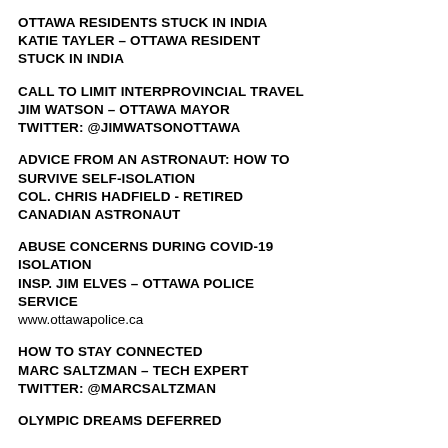OTTAWA RESIDENTS STUCK IN INDIA
KATIE TAYLER – OTTAWA RESIDENT STUCK IN INDIA
CALL TO LIMIT INTERPROVINCIAL TRAVEL
JIM WATSON – OTTAWA MAYOR
TWITTER: @JimWatsonOttawa
ADVICE FROM AN ASTRONAUT: HOW TO SURVIVE SELF-ISOLATION
COL. CHRIS HADFIELD - RETIRED CANADIAN ASTRONAUT
ABUSE CONCERNS DURING COVID-19 ISOLATION
INSP. JIM ELVES – OTTAWA POLICE SERVICE
www.ottawapolice.ca
HOW TO STAY CONNECTED
MARC SALTZMAN – TECH EXPERT
TWITTER: @marcsaltzman
OLYMPIC DREAMS DEFERRED